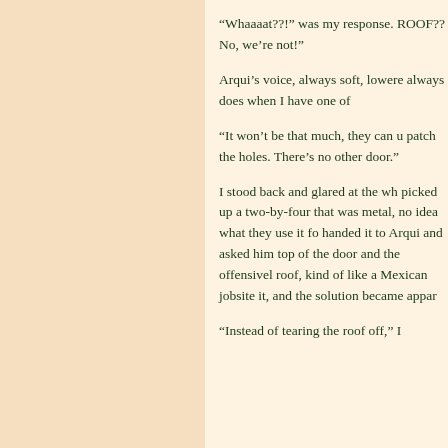“Whaaaat??!” was my response. ROOF?? No, we’re not!”
Arqui’s voice, always soft, lowere always does when I have one of
“It won’t be that much, they can u patch the holes. There’s no other door.”
I stood back and glared at the wh picked up a two-by-four that was metal, no idea what they use it fo handed it to Arqui and asked him top of the door and the offensivel roof, kind of like a Mexican jobsite it, and the solution became appar
“Instead of tearing the roof off,” I